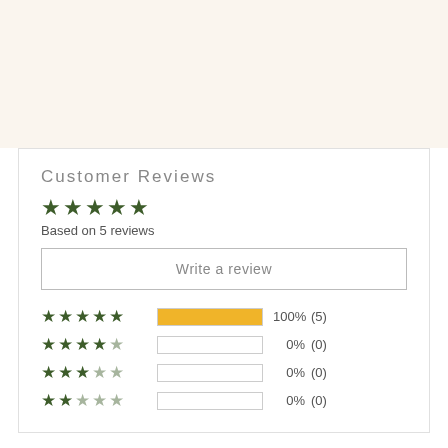Customer Reviews
[Figure (other): 5 filled green stars overall rating]
Based on 5 reviews
Write a review
[Figure (bar-chart): Rating breakdown]